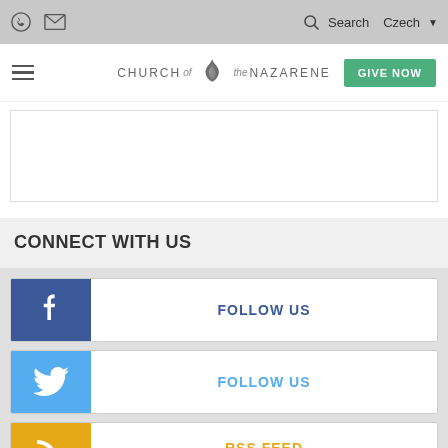Church of the Nazarene website header with phone, email icons, Search, Czech language selector, hamburger menu, logo, and GIVE NOW button
[Figure (screenshot): Blank white content area box]
CONNECT WITH US
[Figure (infographic): Facebook FOLLOW US button row with Facebook blue icon box]
[Figure (infographic): Twitter FOLLOW US button row with Twitter light blue icon box]
[Figure (infographic): RSS FEED partial row with orange RSS icon box (partially cut off)]